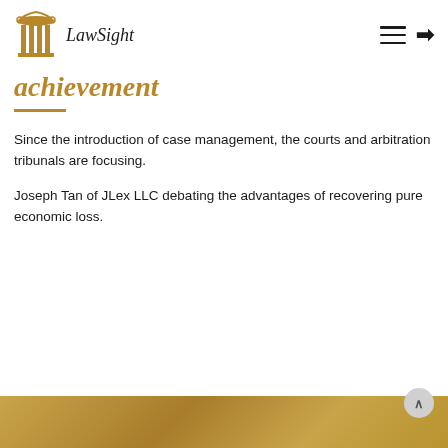LawSight
achievement
Since the introduction of case management, the courts and arbitration tribunals are focusing.
Joseph Tan of JLex LLC debating the advantages of recovering pure economic loss.
[Figure (other): Gold/tan colored decorative footer bar at bottom of page]